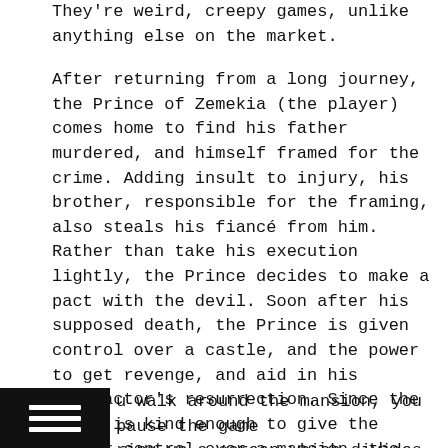They're weird, creepy games, unlike anything else on the market.
After returning from a long journey, the Prince of Zemekia (the player) comes home to find his father murdered, and himself framed for the crime. Adding insult to injury, his brother, responsible for the framing, also steals his fiancé from him. Rather than take his execution lightly, the Prince decides to make a pact with the devil. Soon after his supposed death, the Prince is given control over a castle, and the power to get revenge, and aid in his benefactor's resurrection. Since the devil is kind enough to give the player control over a mansion, the Prince is tasked with defending it from outside intrusion, which usually consist of nosy knights or hapless villagers. Along the way, the player learns of the only way to defend himself from those who would do him harm: by summoning traps.
[Figure (other): Small black icon box with three horizontal white lines (hamburger menu icon)]
u walk around the mansion, you pause the game ring up a screen which divides the room into a